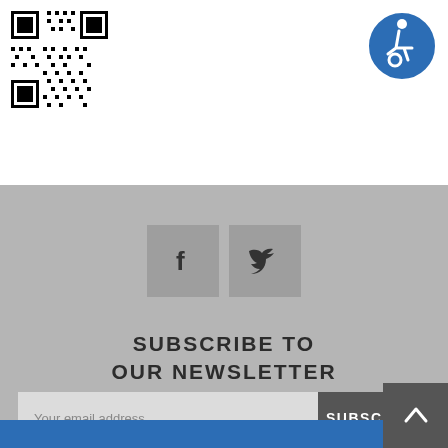[Figure (other): QR code in black and white]
[Figure (other): Accessibility icon - blue circle with wheelchair user symbol in white]
[Figure (other): Facebook social media icon button - grey square with 'f' letter]
[Figure (other): Twitter social media icon button - grey square with bird logo]
SUBSCRIBE TO
OUR NEWSLETTER
Your email address
SUBSCRIBE